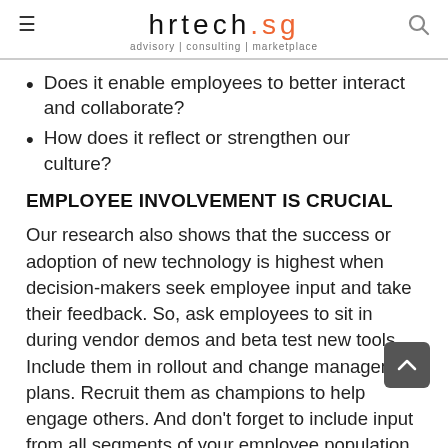hrtech.sg — advisory | consulting | marketplace
Does it enable employees to better interact and collaborate?
How does it reflect or strengthen our culture?
EMPLOYEE INVOLVEMENT IS CRUCIAL
Our research also shows that the success or adoption of new technology is highest when decision-makers seek employee input and take their feedback. So, ask employees to sit in during vendor demos and beta test new tools. Include them in rollout and change management plans. Recruit them as champions to help engage others. And don't forget to include input from all segments of your employee population.
BUSINESS IMPACT OF INTEGRATED TECHNOLOGY